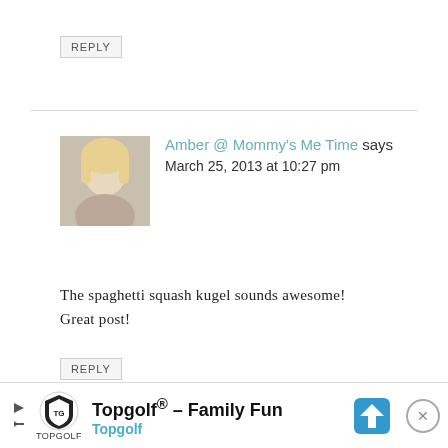REPLY
[Figure (photo): Profile photo of blonde woman smiling]
Amber @ Mommy's Me Time says
March 25, 2013 at 10:27 pm
The spaghetti squash kugel sounds awesome! Great post!
REPLY
[Figure (photo): Partial profile photo of person]
Laura@fitrunningmama says
[Figure (other): Topgolf advertisement banner: Topgolf® – Family Fun, Topgolf]